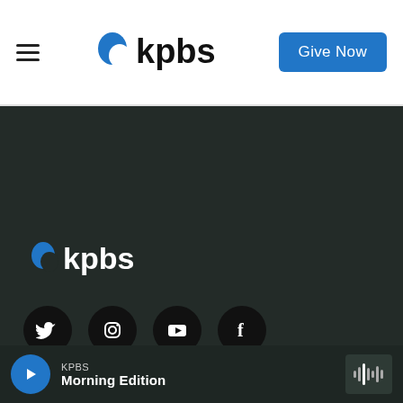[Figure (logo): KPBS logo in header with hamburger menu and Give Now button]
[Figure (logo): KPBS logo in dark footer section]
[Figure (infographic): Social media icons: Twitter, Instagram, YouTube, Facebook — black circles with white icons]
A public service of
[Figure (logo): SDSU | San Diego State University logo in white on dark background]
KPBS Morning Edition
[Figure (infographic): Audio waveform icon on right side of audio bar]